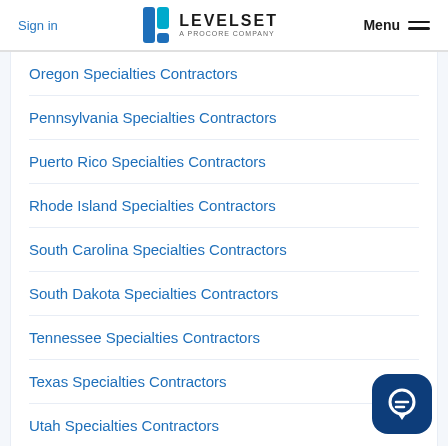Sign in | LEVELSET A PROCORE COMPANY | Menu
Oregon Specialties Contractors
Pennsylvania Specialties Contractors
Puerto Rico Specialties Contractors
Rhode Island Specialties Contractors
South Carolina Specialties Contractors
South Dakota Specialties Contractors
Tennessee Specialties Contractors
Texas Specialties Contractors
Utah Specialties Contractors
Vermont Specialties Contractors
[Figure (illustration): Dark blue rounded square chat/support button icon in bottom right corner]